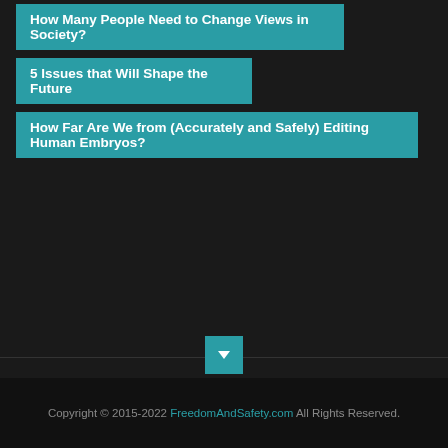How Many People Need to Change Views in Society?
5 Issues that Will Shape the Future
How Far Are We from (Accurately and Safely) Editing Human Embryos?
Copyright © 2015-2022 FreedomAndSafety.com All Rights Reserved.